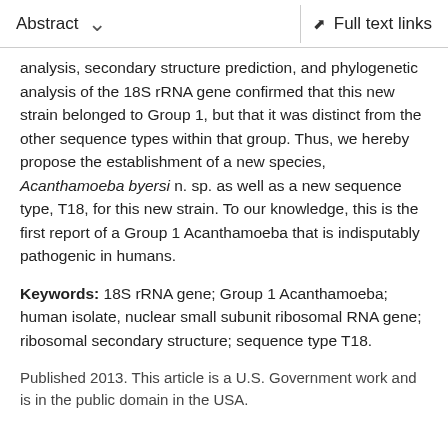Abstract   Full text links
analysis, secondary structure prediction, and phylogenetic analysis of the 18S rRNA gene confirmed that this new strain belonged to Group 1, but that it was distinct from the other sequence types within that group. Thus, we hereby propose the establishment of a new species, Acanthamoeba byersi n. sp. as well as a new sequence type, T18, for this new strain. To our knowledge, this is the first report of a Group 1 Acanthamoeba that is indisputably pathogenic in humans.
Keywords: 18S rRNA gene; Group 1 Acanthamoeba; human isolate, nuclear small subunit ribosomal RNA gene; ribosomal secondary structure; sequence type T18.
Published 2013. This article is a U.S. Government work and is in the public domain in the USA.